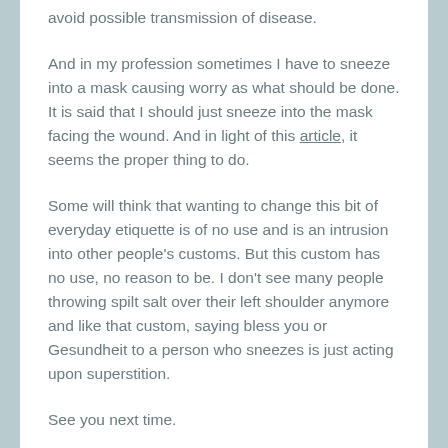avoid possible transmission of disease.
And in my profession sometimes I have to sneeze into a mask causing worry as what should be done. It is said that I should just sneeze into the mask facing the wound. And in light of this article, it seems the proper thing to do.
Some will think that wanting to change this bit of everyday etiquette is of no use and is an intrusion into other people's customs. But this custom has no use, no reason to be. I don't see many people throwing spilt salt over their left shoulder anymore and like that custom, saying bless you or Gesundheit to a person who sneezes is just acting upon superstition.
See you next time.